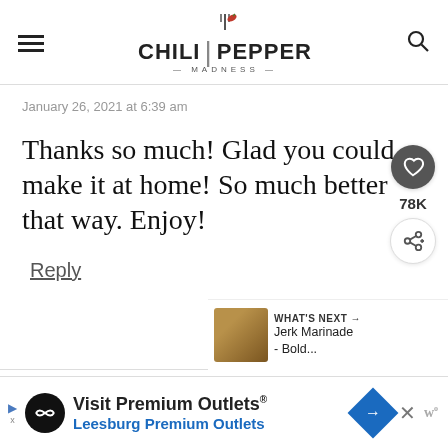CHILI PEPPER MADNESS
January 26, 2021 at 6:39 am
Thanks so much! Glad you could make it at home! So much better that way. Enjoy!
Reply
[Figure (screenshot): WHAT'S NEXT arrow label with thumbnail image of Jerk Marinade - Bold...]
[Figure (infographic): Advertisement banner: Visit Premium Outlets - Leesburg Premium Outlets]